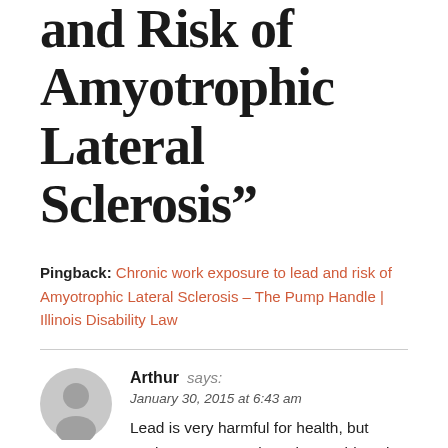and Risk of Amyotrophic Lateral Sclerosis”
Pingback: Chronic work exposure to lead and risk of Amyotrophic Lateral Sclerosis – The Pump Handle | Illinois Disability Law
Arthur says: January 30, 2015 at 6:43 am
Lead is very harmful for health, but workers are not only a place subject, in many developing countries still use lead paint to paint the facades of houses, and that’s very bad for the